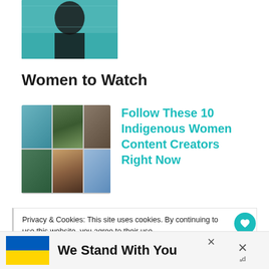[Figure (photo): Top portion of a photo showing a person in a black shirt holding something in front of a teal/blue banner]
Women to Watch
[Figure (photo): Collage of 6 photos showing Indigenous women content creators in various outdoor and nature settings]
Follow These 10 Indigenous Women Content Creators Right Now
Privacy & Cookies: This site uses cookies. By continuing to use this website, you agree to their use.
To find out more, including how to control cookies, see here:
Cookie Policy
We Stand With You